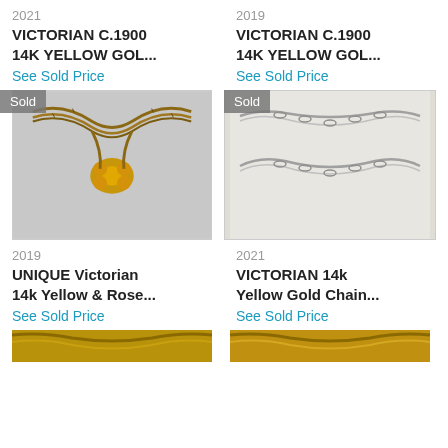2021
VICTORIAN C.1900 14K YELLOW GOL...
See Sold Price
2019
VICTORIAN C.1900 14K YELLOW GOL...
See Sold Price
[Figure (photo): Gold Victorian necklace with floral centerpiece, labeled Sold]
[Figure (photo): Silver Victorian chain necklace, labeled Sold]
2019
UNIQUE Victorian 14k Yellow & Rose...
See Sold Price
2021
VICTORIAN 14k Yellow Gold Chain...
See Sold Price
[Figure (photo): Partial view of a gold necklace at bottom left]
[Figure (photo): Partial view of a gold necklace at bottom right]